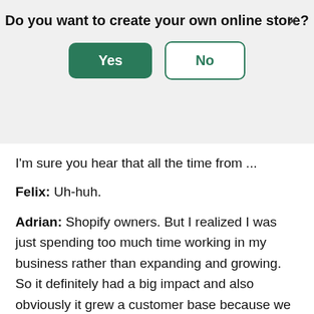Do you want to create your own online store?
[Figure (screenshot): A modal dialog with a 'Yes' button (green filled) and a 'No' button (green outlined), and an X close button in the top right corner.]
I'm sure you hear that all the time from ...
Felix: Uh-huh.
Adrian: Shopify owners. But I realized I was just spending too much time working in my business rather than expanding and growing. So it definitely had a big impact and also obviously it grew a customer base because we went from being a very niche site just with a handful of products. Back in the days we mainly just catered to hip hop artists, because that